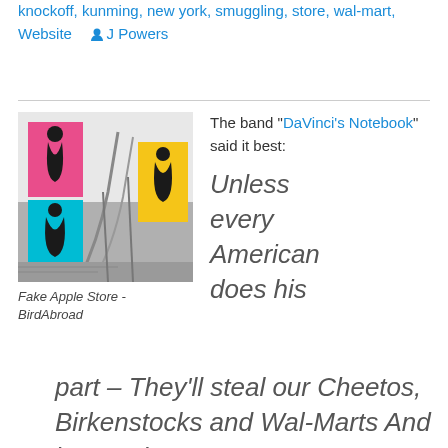knockoff, kunming, new york, smuggling, store, wal-mart, Website   J Powers
[Figure (photo): Interior photo of a fake Apple Store staircase with colorful silhouette artwork on the walls]
Fake Apple Store - BirdAbroad
The band “DaVinci’s Notebook” said it best:
Unless every American does his part – They’ll steal our Cheetos, Birkenstocks and Wal-Marts And it won’t be very